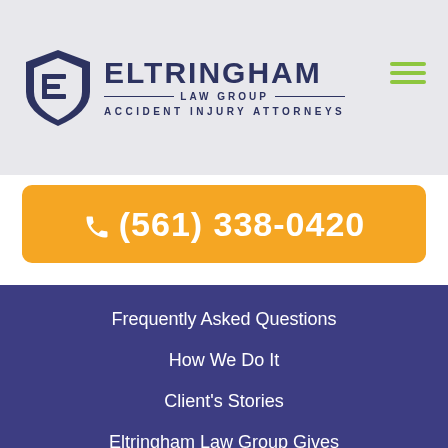[Figure (logo): Eltringham Law Group logo with shield icon, law group name, and 'Accident Injury Attorneys' tagline]
☎ (561) 338-0420
Frequently Asked Questions
How We Do It
Client's Stories
Eltringham Law Group Gives
Contact Us
Sitemap